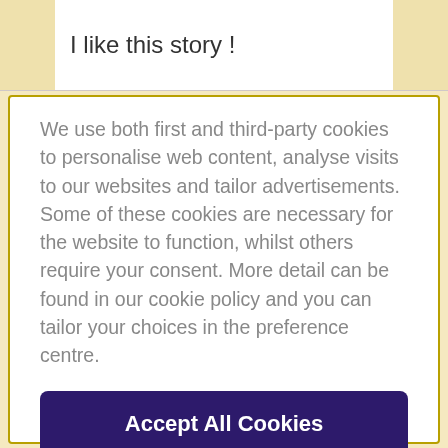I like this story !
We use both first and third-party cookies to personalise web content, analyse visits to our websites and tailor advertisements. Some of these cookies are necessary for the website to function, whilst others require your consent. More detail can be found in our cookie policy and you can tailor your choices in the preference centre.
Accept All Cookies
Cookies Settings